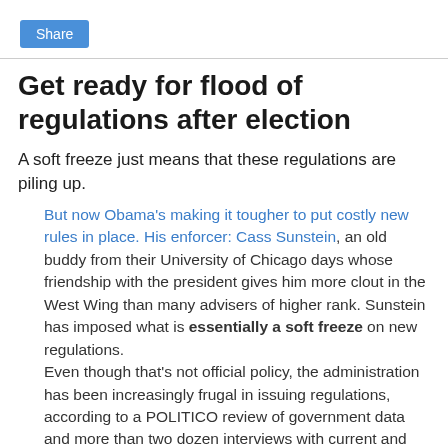[Figure (other): Share button — blue rounded rectangle with white 'Share' text]
Get ready for flood of regulations after election
A soft freeze just means that these regulations are piling up.
But now Obama's making it tougher to put costly new rules in place. His enforcer: Cass Sunstein, an old buddy from their University of Chicago days whose friendship with the president gives him more clout in the West Wing than many advisers of higher rank. Sunstein has imposed what is essentially a soft freeze on new regulations.
Even though that's not official policy, the administration has been increasingly frugal in issuing regulations, according to a POLITICO review of government data and more than two dozen interviews with current and former administration officials, lawmakers in both